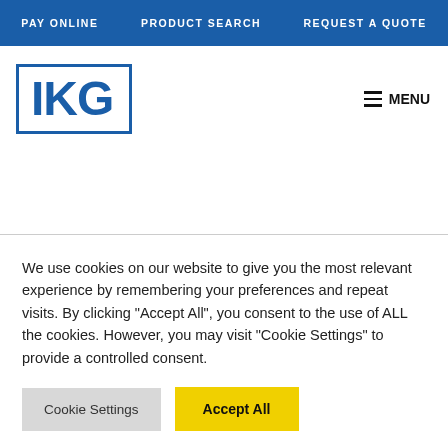PAY ONLINE   PRODUCT SEARCH   REQUEST A QUOTE
[Figure (logo): IKG logo — bold blue letters IKG inside a blue-outlined rectangle]
≡ MENU
We use cookies on our website to give you the most relevant experience by remembering your preferences and repeat visits. By clicking "Accept All", you consent to the use of ALL the cookies. However, you may visit "Cookie Settings" to provide a controlled consent.
Cookie Settings   Accept All